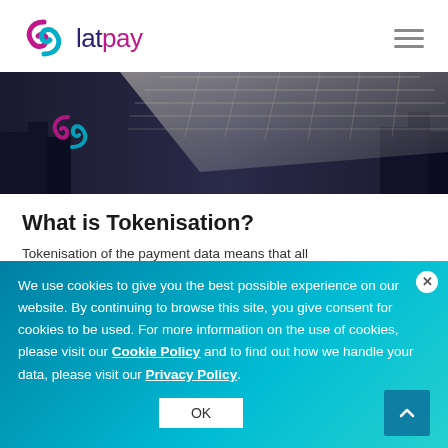[Figure (logo): Latpay logo with magenta/teal swirl icon and 'lat' in dark purple and 'pay' in magenta]
[Figure (photo): Dark cityscape banner with latpay logo overlay, futuristic tech/finance theme with glowing keyboard]
What is Tokenisation?
Tokenisation of the payment data means that all
We use cookies to give you the best possible experience on our website. By continuing to browse this site, you give consent for cookies to be used. For more information on the use of cookies, please visit our Cookie Policy and to find out how we handle your data, please visit our Privacy Policy.